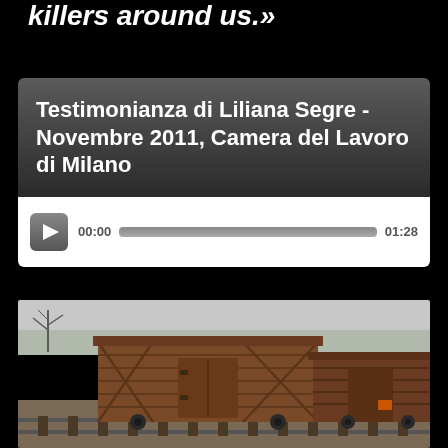killers around us.»
[Figure (screenshot): Audio player widget showing title 'Testimonianza di Liliana Segre - Novembre 2011, Camera del Lavoro di Milano' with playback controls showing time 00:00 and duration 01:28]
[Figure (photo): Photograph of old wooden freight/cattle railway wagons on tracks, overcast sky, bare trees in background — historically significant as deportation wagons]